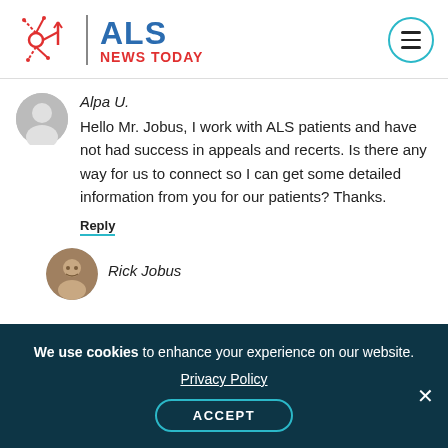[Figure (logo): ALS News Today logo with neuron icon and ALS NEWS TODAY text]
Alpa U.
Hello Mr. Jobus, I work with ALS patients and have not had success in appeals and recerts. Is there any way for us to connect so I can get some detailed information from you for our patients? Thanks.
Reply
[Figure (photo): Profile photo of Rick Jobus]
Rick Jobus
We use cookies to enhance your experience on our website.
Privacy Policy
ACCEPT